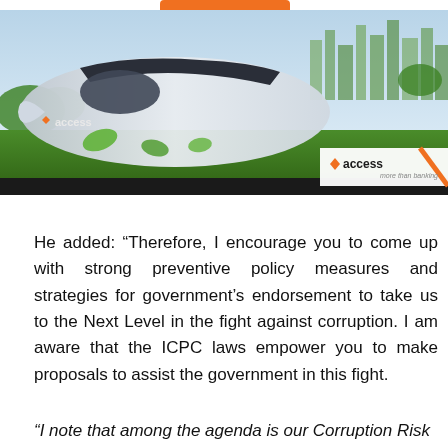[Figure (illustration): Access Bank advertisement banner featuring a futuristic white bullet train on green grass with city skyline in background, green leaves, and Access Bank logo with 'more than banking' tagline]
He added: “Therefore, I encourage you to come up with strong preventive policy measures and strategies for government’s endorsement to take us to the Next Level in the fight against corruption. I am aware that the ICPC laws empower you to make proposals to assist the government in this fight.
“I note that among the agenda is our Corruption Risk